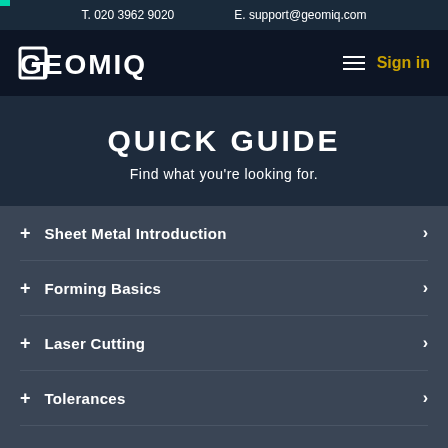T. 020 3962 9020   E. support@geomiq.com
[Figure (logo): GEOMIQ company logo in white on dark navy background, with hamburger menu icon and Sign in link]
QUICK GUIDE
Find what you're looking for.
Sheet Metal Introduction
Forming Basics
Laser Cutting
Tolerances
Features